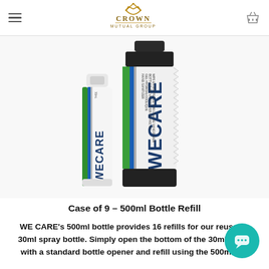Crown Mutual Group – navigation header with hamburger menu and basket icon
[Figure (photo): WE CARE brand hand sanitizer products: a large 500ml bottle and a small 30ml spray bottle, both with white and dark labels showing the WE CARE logo with green/blue stripes.]
Case of 9 – 500ml Bottle Refill
WE CARE's 500ml bottle provides 16 refills for our reusable 30ml spray bottle. Simply open the bottom of the 30ml bottle with a standard bottle opener and refill using the 500ml bot…